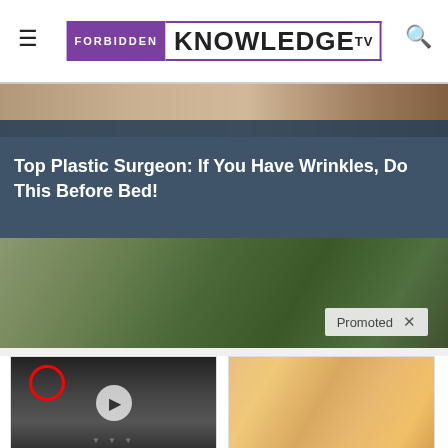FORBIDDEN KNOWLEDGE TV
[Figure (photo): Top banner image with dark overlay showing wrinkles/skin care topic]
Top Plastic Surgeon: If You Have Wrinkles, Do This Before Bed!
[Figure (photo): Promoted content banner showing mechanical/bearing image with Promoted label]
[Figure (photo): Biden video thumbnail showing group of people in suits at CIA with red circle marker and play button]
Biden Probably Wants This Video Destroyed — Massive Currency Upheaval Has Started
Watch The Video
[Figure (photo): Close-up photo of fingers/nails with yellowish discoloration]
4 Warning Signs Of Dementia (#2 Is Creepy)
Find Out More